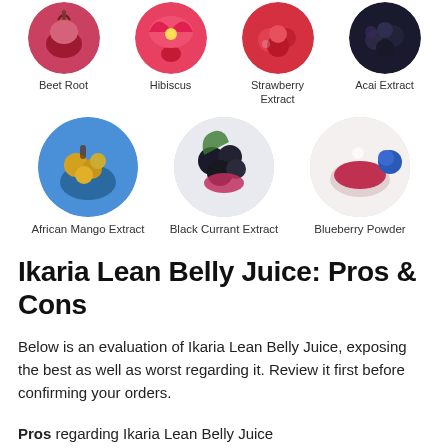[Figure (illustration): Four circular ingredient photos in a row: Beet Root, Hibiscus, Strawberry Extract, Acai Extract with labels below each]
[Figure (illustration): Three circular ingredient photos in a row: African Mango Extract, Black Currant Extract, Blueberry Powder with labels below each]
Ikaria Lean Belly Juice: Pros & Cons
Below is an evaluation of Ikaria Lean Belly Juice, exposing the best as well as worst regarding it. Review it first before confirming your orders.
Pros regarding Ikaria Lean Belly Juice